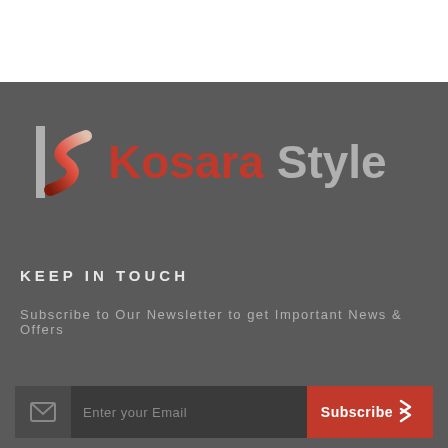[Figure (logo): Kosara Style logo with stylized K/S lettermark in red/silver and text 'Kosara Style' in red and grey on dark background]
KEEP IN TOUCH
Subscribe to Our Newsletter to get Important News & Offers
[Figure (infographic): Email subscription bar with envelope icon, 'Enter your Email' placeholder, and red 'Subscribe' button with chevron arrows]